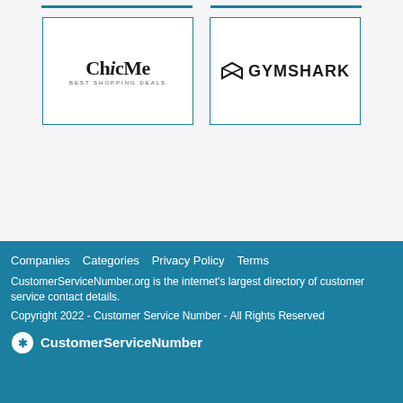[Figure (logo): ChicMe logo - text logo with 'ChicMe' and 'BEST SHOPPING DEALS' subtitle]
[Figure (logo): Gymshark logo - shark icon with 'GYMSHARK' text]
Companies   Categories   Privacy Policy   Terms
CustomerServiceNumber.org is the internet's largest directory of customer service contact details.
Copyright 2022 - Customer Service Number - All Rights Reserved
CustomerServiceNumber